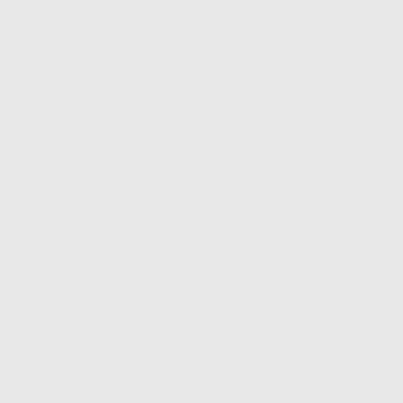"Certainly could no... Care."
Dr. Vaijayanti Koldb...
Duarte, CA
"HITEC-LA has be... their services to an...
Dr. Jeffrey Gin
Covina, CA
"One of the benefi... anywhere in the wo... promptly."
Dr. Martha Rodrigu...
Downey, CA
"It was great worki...